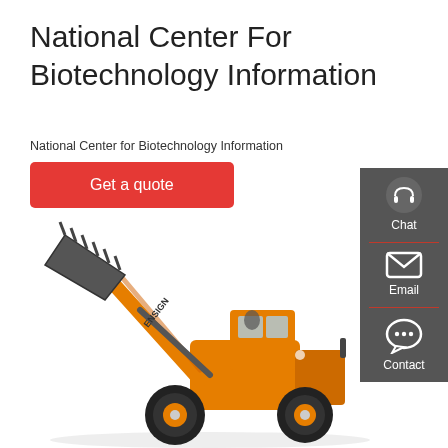National Center For Biotechnology Information
National Center for Biotechnology Information
Get a quote
[Figure (other): Sidebar with Chat, Email, and Contact icons on dark grey background]
[Figure (photo): Orange ENSIGN front-end wheel loader construction machine with grey bucket raised, on white background]